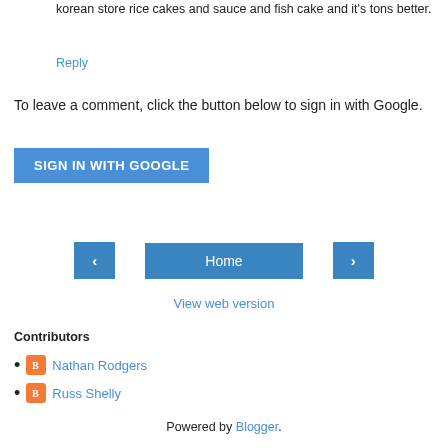korean store rice cakes and sauce and fish cake and it's tons better.
Reply
To leave a comment, click the button below to sign in with Google.
[Figure (other): SIGN IN WITH GOOGLE button]
[Figure (other): Navigation bar with back arrow, Home button, and forward arrow]
View web version
Contributors
Nathan Rodgers
Russ Shelly
Powered by Blogger.